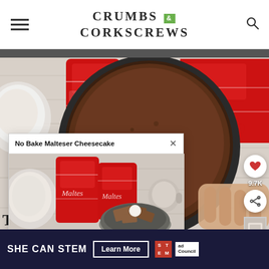CRUMBS & CORKSCREWS
[Figure (photo): Overhead photo of a no-bake cheesecake in a springform pan surrounded by Maltesers bags on a white wood surface]
[Figure (screenshot): Popup card overlay showing 'No Bake Malteser Cheesecake' title with X close button, and a photo of Maltesers bags with a food processor containing crushed biscuits]
[Figure (infographic): Right side icon bar with heart icon, 9.7K count, share icon, and thumbnail navigation]
[Figure (infographic): Bottom advertisement banner: SHE CAN STEM - Learn More - with STEM and Ad Council logos]